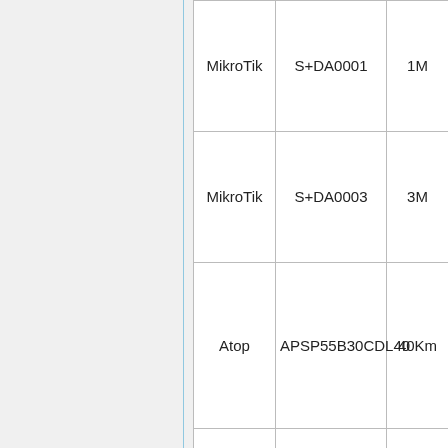| Vendor | Model | Range |
| --- | --- | --- |
| MikroTik | S+DA0001 | 1M |
| MikroTik | S+DA0003 | 3M |
| Atop | APSP55B30CDL40 | 40Km |
| Cisco | SFP-10G-LR | 10KM |
| Dell (Finisar) | FTLX8571D3BCL | 300M |